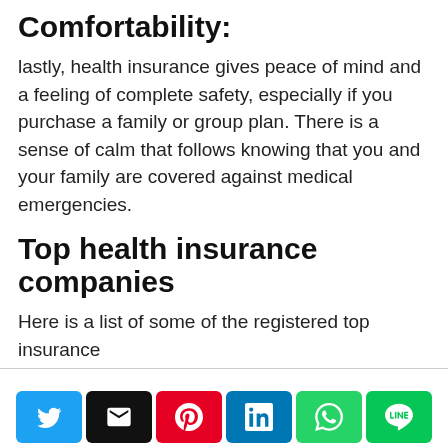Comfortability:
lastly, health insurance gives peace of mind and a feeling of complete safety, especially if you purchase a family or group plan. There is a sense of calm that follows knowing that you and your family are covered against medical emergencies.
Top health insurance companies
Here is a list of some of the registered top insurance
Get the best loan offer  Check Available Loans  x
[Figure (other): Social share buttons: Twitter, Email, Pinterest, LinkedIn, WhatsApp, LINE]